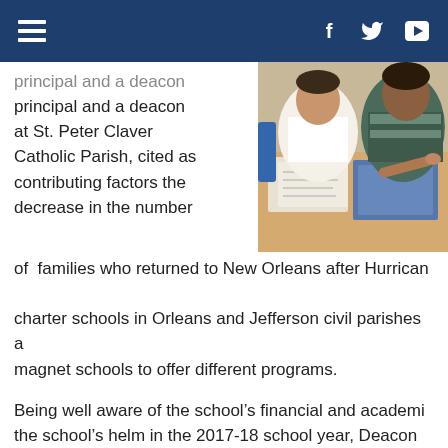Navigation bar with hamburger menu and social media icons (Facebook, Twitter, YouTube)
...principal and a deacon at St. Peter Claver Catholic Parish, cited as contributing factors the decrease in the number of families who returned to New Orleans after Hurricane... charter schools in Orleans and Jefferson civil parishes a... magnet schools to offer different programs.
[Figure (photo): Classroom scene showing students and teacher at desks with books and papers, viewed from above at an angle.]
Being well aware of the school's financial and academic... the school's helm in the 2017-18 school year, Deacon H... its history in the community. The school has provided e... Americans in New Orleans and had a legacy of educatin... students, many who were parishioners of St. Peter Clav...